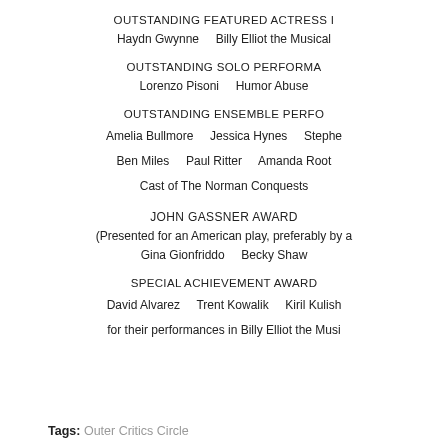OUTSTANDING FEATURED ACTRESS I
Haydn Gwynne    Billy Elliot the Musical
OUTSTANDING SOLO PERFORMA
Lorenzo Pisoni    Humor Abuse
OUTSTANDING ENSEMBLE PERFO
Amelia Bullmore    Jessica Hynes    Stephe
Ben Miles    Paul Ritter    Amanda Root
Cast of The Norman Conquests
JOHN GASSNER AWARD
(Presented for an American play, preferably by a
Gina Gionfriddo    Becky Shaw
SPECIAL ACHIEVEMENT AWARD
David Alvarez    Trent Kowalik    Kiril Kulish
for their performances in Billy Elliot the Musi
Tags: Outer Critics Circle